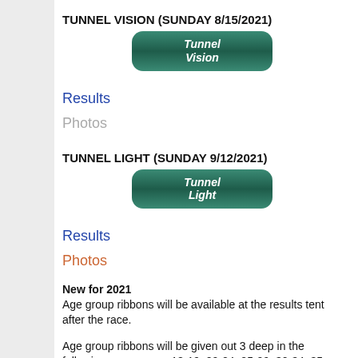TUNNEL VISION (SUNDAY 8/15/2021)
[Figure (illustration): Green rounded button labeled 'Tunnel Vision' in white italic bold text]
Results
Photos
TUNNEL LIGHT (SUNDAY 9/12/2021)
[Figure (illustration): Green rounded button labeled 'Tunnel Light' in white italic bold text]
Results
Photos
New for 2021
Age group ribbons will be available at the results tent after the race.
Age group ribbons will be given out 3 deep in the following age groups: 18-19, 20-24, 25-29, 30-34, 35-39, 40-44, 45-49, 50-54, 55-59, 60-64, 65-69, 70-74,